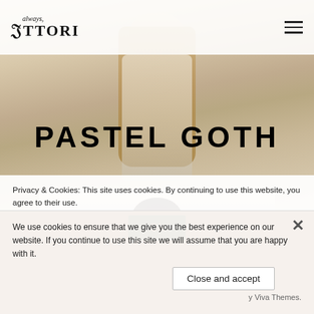[Figure (screenshot): Website screenshot of 'always Uttori' fashion blog. Header with logo and hamburger menu. Hero image showing person with blonde hair facing away, overlaid with large bold text 'PASTEL GOTH'. Below is a second image strip of a person with dark hair. Two overlapping cookie consent banners at the bottom.]
PASTEL GOTH
Privacy & Cookies: This site uses cookies. By continuing to use this website, you agree to their use.
We use cookies to ensure that we give you the best experience on our website. If you continue to use this site we will assume that you are happy with it.
Close and accept
Ok
y Viva Themes.